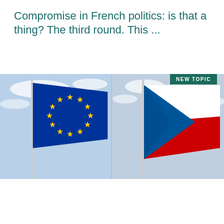Compromise in French politics: is that a thing? The third round. This ...
[Figure (illustration): Two flags on poles against a cloudy sky. On the left is the European Union flag (blue with a circle of 12 yellow stars). On the right is the Czech Republic flag (blue triangle on the hoist side, white stripe on top, red stripe on bottom). A 'NEW TOPIC' badge appears in the upper right corner of the image.]